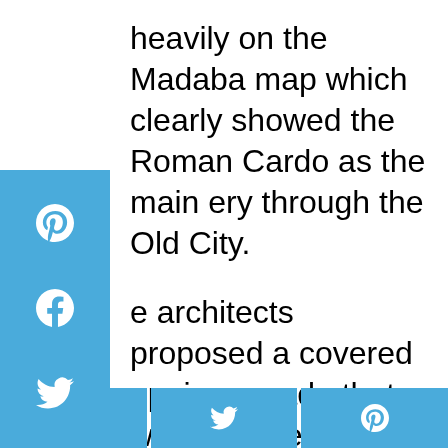heavily on the Madaba map which clearly showed the Roman Cardo as the main ery through the Old City.
e architects proposed a covered opping arcade that would preserve the le of an ancient Roman street using ntemporary materials.
1980, 37 housing units and 35 shops re built, incorporating archaeological finds such as a Hasmonean wall from the